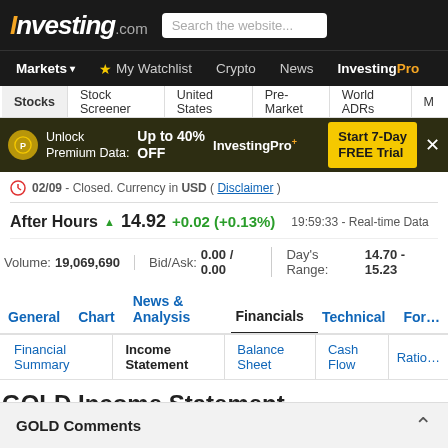Investing.com | Search the website...
Markets | My Watchlist | Crypto | News | InvestingPro
Stocks | Stock Screener | United States | Pre-Market | World ADRs
Unlock Premium Data: Up to 40% OFF | InvestingPro+ | Start 7-Day FREE Trial
02/09 - Closed. Currency in USD (Disclaimer)
After Hours ▲ 14.92 +0.02 (+0.13%) 19:59:33 - Real-time Data
Volume: 19,069,690 | Bid/Ask: 0.00 / 0.00 | Day's Range: 14.70 - 15.23
General | Chart | News & Analysis | Financials | Technical | For...
Financial Summary | Income Statement | Balance Sheet | Cash Flow | Ratio...
GOLD Income Statement
Annual | Quarterly
GOLD Comments